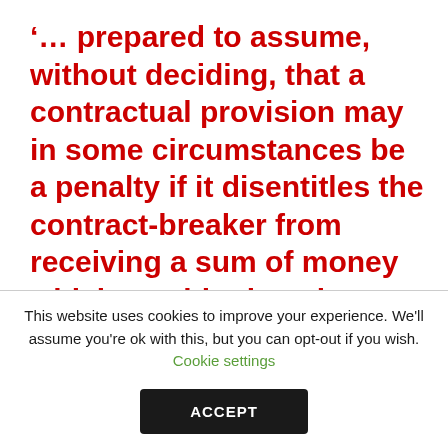‘… prepared to assume, without deciding, that a contractual provision may in some circumstances be a penalty if it disentitles the contract-breaker from receiving a sum of money which would otherwise have been due to him.’
This website uses cookies to improve your experience. We’ll assume you’re ok with this, but you can opt-out if you wish. Cookie settings ACCEPT